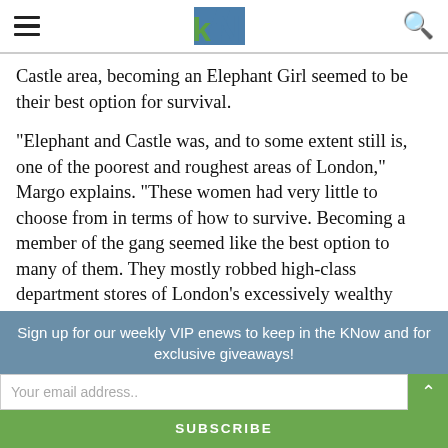kN logo with hamburger menu and search icon
Castle area, becoming an Elephant Girl seemed to be their best option for survival.
“Elephant and Castle was, and to some extent still is, one of the poorest and roughest areas of London,” Margo explains. “These women had very little to choose from in terms of how to survive. Becoming a member of the gang seemed like the best option to many of them. They mostly robbed high-class department stores of London’s excessively wealthy West End and felt it was their right to do so.
Sign up for our weekly VIP enews to keep in the KNow and for exclusive giveaways!
Your email address..
SUBSCRIBE